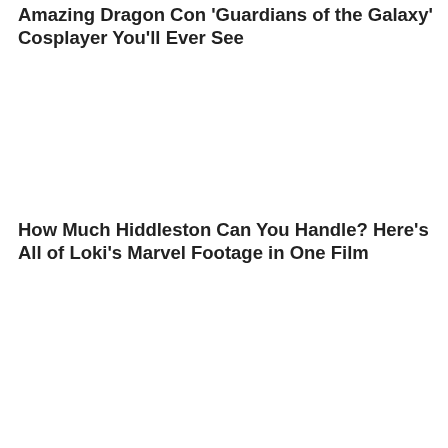Amazing Dragon Con 'Guardians of the Galaxy' Cosplayer You'll Ever See
How Much Hiddleston Can You Handle? Here's All of Loki's Marvel Footage in One Film
The Winners, Sleepers and Busts at the 2014 Summer Box Office
So, Is She? A&E Cancels 'Longmire,' Leaving Katee Sackhoff Perfectly Free to Play Carol Danvers